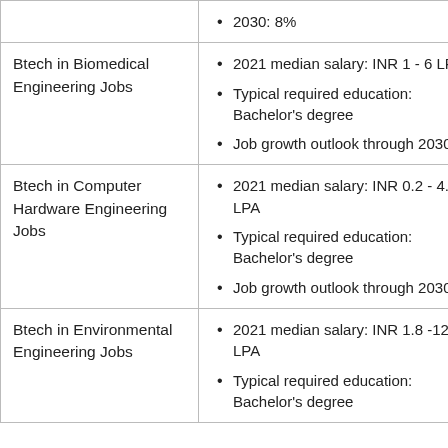| Job Category | Details |
| --- | --- |
|  | 2030: 8% |
| Btech in Biomedical Engineering Jobs | 2021 median salary: INR 1 - 6 LPA
Typical required education: Bachelor's degree
Job growth outlook through 2030: 6% |
| Btech in Computer Hardware Engineering Jobs | 2021 median salary: INR 0.2 - 4.3 LPA
Typical required education: Bachelor's degree
Job growth outlook through 2030: 2% |
| Btech in Environmental Engineering Jobs | 2021 median salary: INR 1.8 -12.6 LPA
Typical required education: Bachelor's degree |